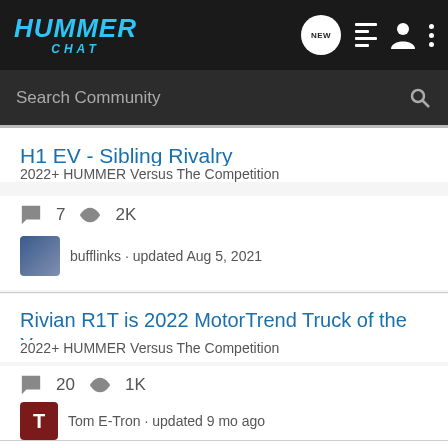HUMMER CHAT — navigation bar with logo, new posts icon, list icon, user icon, menu icon
Search Community
H1 EV - Sibling Rivalry
2022+ HUMMER Versus The Competition
7 comments · 2K views · bufflinks · updated Aug 5, 2021
Rivian R1T is 2022 MotorTrend Truck of the Year
2022+ HUMMER Versus The Competition
20 comments · 1K views · Tom E-Tron · updated 9 mo ago
Ram will only build EV pickups if buyers ask